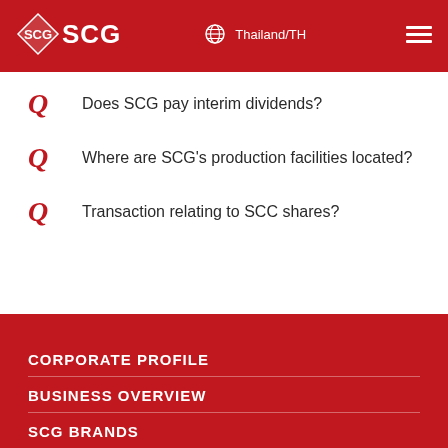SCG | Thailand/TH
Does SCG pay interim dividends?
Where are SCG's production facilities located?
Transaction relating to SCC shares?
CORPORATE PROFILE
BUSINESS OVERVIEW
SCG BRANDS